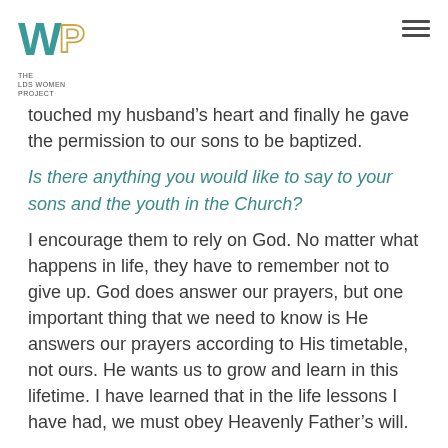THE LDS WOMEN PROJECT
touched my husband’s heart and finally he gave the permission to our sons to be baptized.
Is there anything you would like to say to your sons and the youth in the Church?
I encourage them to rely on God. No matter what happens in life, they have to remember not to give up. God does answer our prayers, but one important thing that we need to know is He answers our prayers according to His timetable, not ours. He wants us to grow and learn in this lifetime. I have learned that in the life lessons I have had, we must obey Heavenly Father’s will.